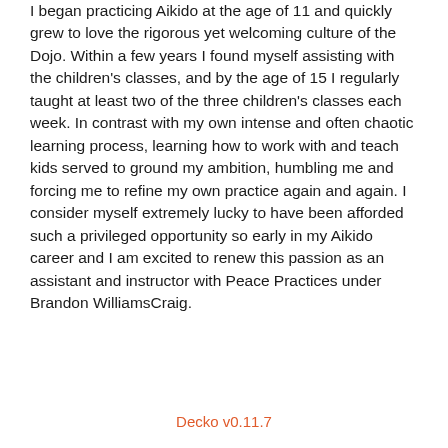I began practicing Aikido at the age of 11 and quickly grew to love the rigorous yet welcoming culture of the Dojo. Within a few years I found myself assisting with the children's classes, and by the age of 15 I regularly taught at least two of the three children's classes each week. In contrast with my own intense and often chaotic learning process, learning how to work with and teach kids served to ground my ambition, humbling me and forcing me to refine my own practice again and again. I consider myself extremely lucky to have been afforded such a privileged opportunity so early in my Aikido career and I am excited to renew this passion as an assistant and instructor with Peace Practices under Brandon WilliamsCraig.
Decko v0.11.7